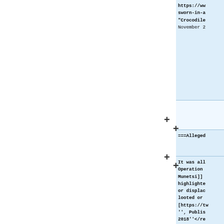https://ww sworn-in-a "Crocodile November 2
===Alleged
It was all Operation Munetsi]] highlighted or displac looted or [https://tw '', Publis 2018''</re
===Exile==
Several to